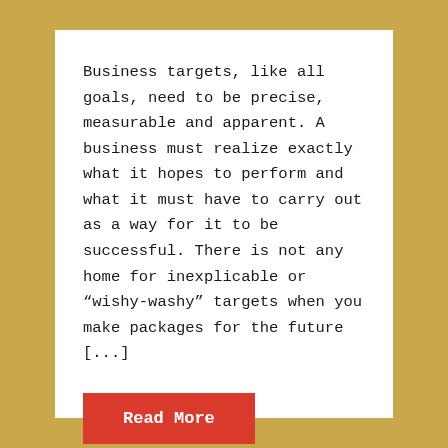Business targets, like all goals, need to be precise, measurable and apparent. A business must realize exactly what it hopes to perform and what it must have to carry out as a way for it to be successful. There is not any home for inexplicable or “wishy-washy” targets when you make packages for the future [...]
Read More